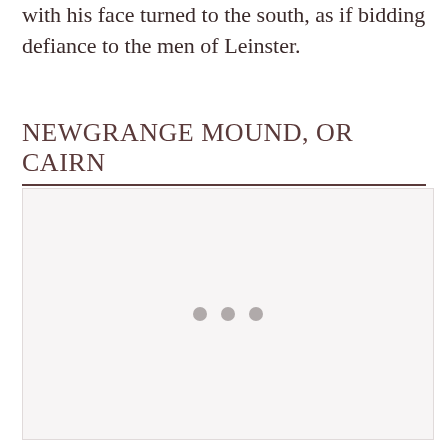with his face turned to the south, as if bidding defiance to the men of Leinster.
NEWGRANGE MOUND, OR CAIRN
[Figure (photo): A large light-colored image placeholder area with three small grey dots centered in the middle, suggesting an image loading or placeholder for a photograph of Newgrange Mound or Cairn.]